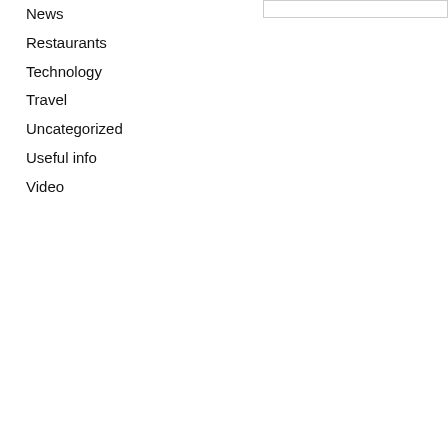News
Restaurants
Technology
Travel
Uncategorized
Useful info
Video